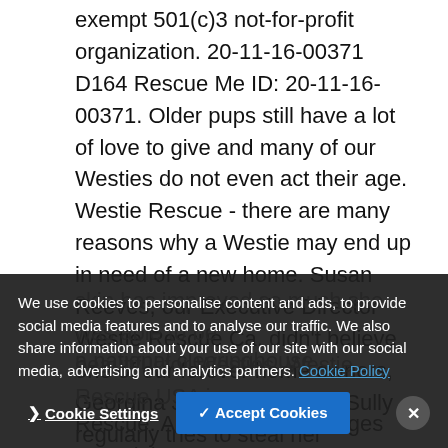exempt 501(c)3 not-for-profit organization. 20-11-16-00371 D164 Rescue Me ID: 20-11-16-00371. Older pups still have a lot of love to give and many of our Westies do not even act their age. Westie Rescue - there are many reasons why a Westie may end up in need of a new home. Susan Reeves, our Executive Director Westie Rescue Ca, didn't believe one of our forever home owners, Georgina Jane Barber, that Sully regularly tries to steal her colleagues' lunches. Westie Rescue of California January 7 at 3:37 PM JAZZY fostered skin issue JAZZY's skin has improved so much she was able to be... beautiful for Westies. Westie Rescue USA is a national clearinghouse... Rescue. All content and images Copyright
We use cookies to personalise content and ads, to provide social media features and to analyse our traffic. We also share information about your use of our site with our social media, advertising and analytics partners. Cookie Policy
Cookie Settings  ✓ Accept Cookies  ✕